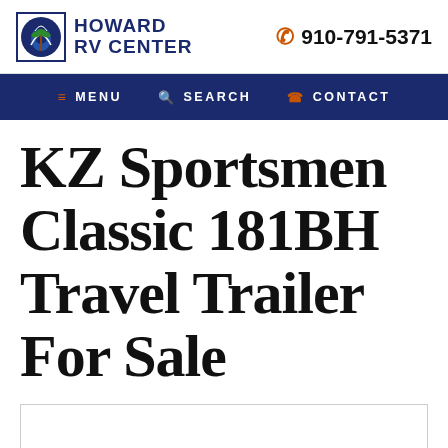HOWARD RV CENTER  910-791-5371
MENU  SEARCH  CONTACT
KZ Sportsmen Classic 181BH Travel Trailer For Sale
[Figure (photo): Product image placeholder area at bottom of page]